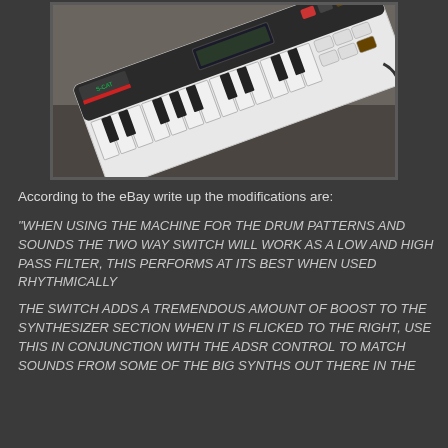[Figure (photo): A Casio VL-Tone or similar small keyboard/synthesizer photographed at an angle on a dark surface, showing white and black keys, buttons, and a small LCD display. The keyboard is tilted diagonally in the frame.]
According to the eBay write up the modifications are:
"WHEN USING THE MACHINE FOR THE DRUM PATTERNS AND SOUNDS THE TWO WAY SWITCH WILL WORK AS A LOW AND HIGH PASS FILTER, THIS PERFORMS AT ITS BEST WHEN USED RHYTHMICALLY
THE SWITCH ADDS A TREMENDOUS AMOUNT OF BOOST TO THE SYNTHESIZER SECTION WHEN IT IS FLICKED TO THE RIGHT, USE THIS IN CONJUNCTION WITH THE ADSR CONTROL TO MATCH SOUNDS FROM SOME OF THE BIG SYNTHS OUT THERE IN THE